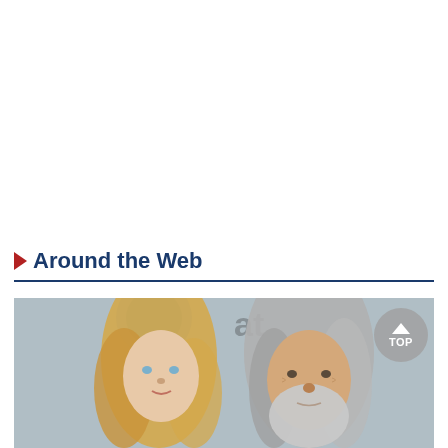Around the Web
[Figure (photo): Photo of two people — a blonde woman and an older man with long grey hair and beard — standing in front of an AT&T branded backdrop. A circular grey 'TOP' scroll-to-top button with an upward arrow is overlaid on the right side of the image.]